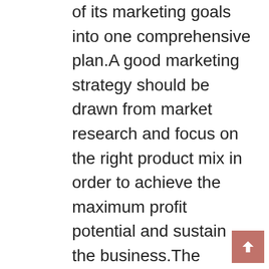of its marketing goals into one comprehensive plan.A good marketing strategy should be drawn from market research and focus on the right product mix in order to achieve the maximum profit potential and sustain the business.The marketing strategy is the foundation of a marketing plan.
Search Engine Optimization Tips search engine optimization (SEO) is often about making small modifications to parts of your website. When viewed individually, these changes might seem like incremental improvements, but when combined with other optimizations, they could have a noticeable impact on your site's user experience and performance in organic